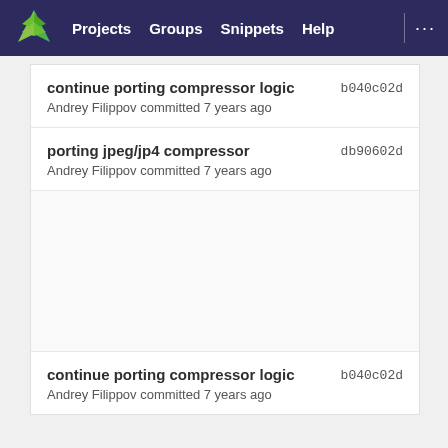[Figure (screenshot): GitLab navigation bar with logo, Projects, Groups, Snippets, Help links on dark navy background]
continue porting compressor logic | b040c02d | Andrey Filippov committed 7 years ago
porting jpeg/jp4 compressor | db90602d | Andrey Filippov committed 7 years ago
continue porting compressor logic | b040c02d | Andrey Filippov committed 7 years ago